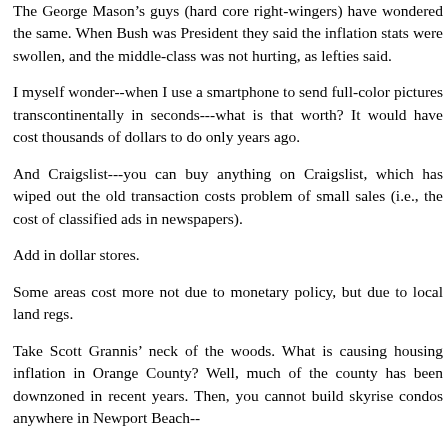The George Mason's guys (hard core right-wingers) have wondered the same. When Bush was President they said the inflation stats were swollen, and the middle-class was not hurting, as lefties said.
I myself wonder--when I use a smartphone to send full-color pictures transcontinentally in seconds---what is that worth? It would have cost thousands of dollars to do only years ago.
And Craigslist---you can buy anything on Craigslist, which has wiped out the old transaction costs problem of small sales (i.e., the cost of classified ads in newspapers).
Add in dollar stores.
Some areas cost more not due to monetary policy, but due to local land regs.
Take Scott Grannis’ neck of the woods. What is causing housing inflation in Orange County? Well, much of the county has been downzoned in recent years. Then, you cannot build skyrise condos anywhere in Newport Beach--